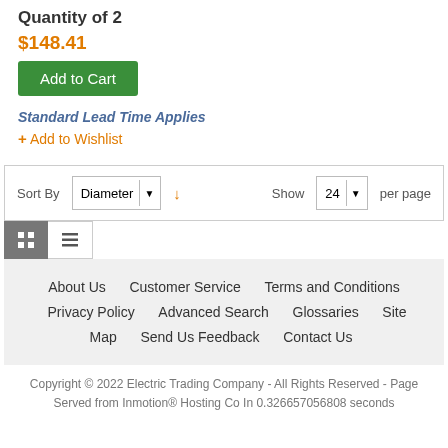Quantity of 2
$148.41
Add to Cart
Standard Lead Time Applies
+ Add to Wishlist
Sort By  Diameter  ↓   Show  24  per page
About Us   Customer Service   Terms and Conditions   Privacy Policy   Advanced Search   Glossaries   Site Map   Send Us Feedback   Contact Us
Copyright © 2022 Electric Trading Company - All Rights Reserved - Page Served from Inmotion® Hosting Co In 0.326657056808 seconds